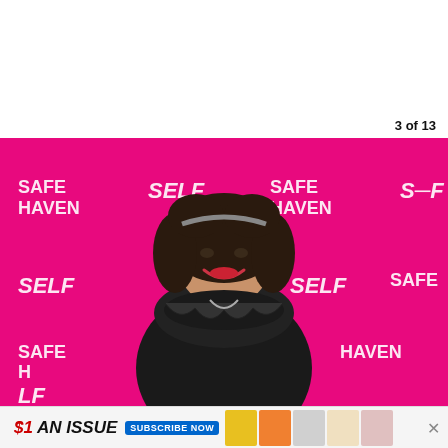3 of 13
[Figure (photo): Woman with dark curly hair wearing a black fur-trimmed coat, smiling on a pink step-and-repeat backdrop featuring SAFE HAVEN and SELF branding logos]
[Figure (infographic): Advertisement banner: $1 AN ISSUE — SUBSCRIBE NOW, featuring magazine covers]